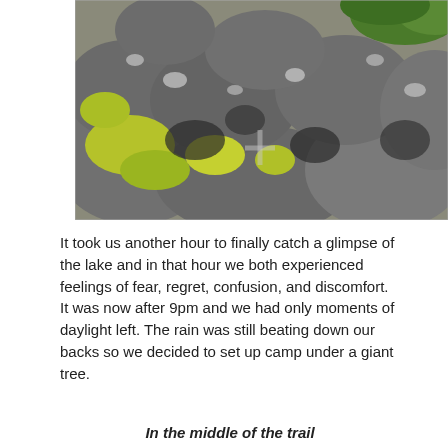[Figure (photo): Close-up photograph of a pile of large rocks covered with green and yellow moss and lichen, with green foliage visible in the upper right corner.]
It took us another hour to finally catch a glimpse of the lake and in that hour we both experienced feelings of fear, regret, confusion, and discomfort. It was now after 9pm and we had only moments of daylight left. The rain was still beating down our backs so we decided to set up camp under a giant tree.
In the middle of the trail